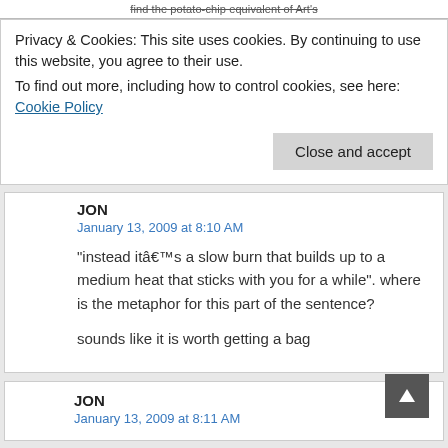find the potato-chip equivalent of Art's
Privacy & Cookies: This site uses cookies. By continuing to use this website, you agree to their use.
To find out more, including how to control cookies, see here: Cookie Policy
Close and accept
JON
January 13, 2009 at 8:10 AM
“instead itâ€™s a slow burn that builds up to a medium heat that sticks with you for a while”. where is the metaphor for this part of the sentence?

sounds like it is worth getting a bag
JON
January 13, 2009 at 8:11 AM